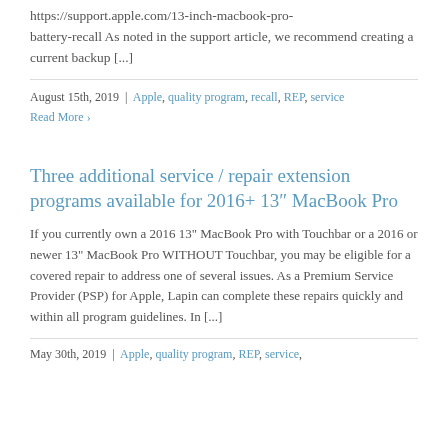https://support.apple.com/13-inch-macbook-pro-battery-recall As noted in the support article, we recommend creating a current backup [...]
August 15th, 2019  |  Apple, quality program, recall, REP, service
Read More
Three additional service / repair extension programs available for 2016+ 13″ MacBook Pro
If you currently own a 2016 13" MacBook Pro with Touchbar or a 2016 or newer 13" MacBook Pro WITHOUT Touchbar, you may be eligible for a covered repair to address one of several issues. As a Premium Service Provider (PSP) for Apple, Lapin can complete these repairs quickly and within all program guidelines. In [...]
May 30th, 2019  |  Apple, quality program, REP, service,